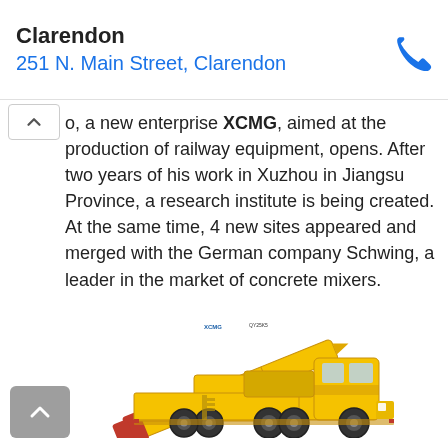Clarendon
251 N. Main Street, Clarendon
o, a new enterprise XCMG, aimed at the production of railway equipment, opens. After two years of his work in Xuzhou in Jiangsu Province, a research institute is being created. At the same time, 4 new sites appeared and merged with the German company Schwing, a leader in the market of concrete mixers.
[Figure (photo): Yellow XCMG mobile crane truck with extended boom, branded with XCMG logo, shown on white background]